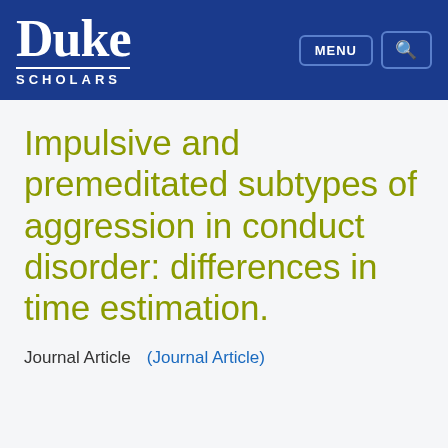Duke Scholars — MENU [search button]
Impulsive and premeditated subtypes of aggression in conduct disorder: differences in time estimation.
Journal Article    (Journal Article)